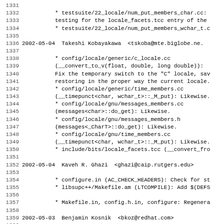1331
1332           * testsuite/22_locale/num_put_members_char.cc:
1333           testing for the locale_facets.tcc entry of the
1334           * testsuite/22_locale/num_put_members_wchar_t.c
1335
1336 2002-05-04  Takeshi Kobayakawa  <tskoba@mte.biglobe.ne.
1337
1338           * config/locale/generic/c_locale.cc
1339           (__convert_to_v(float, double, long double)):
1340           Fix the temporary switch to the "C" locale, sav
1341           restoring in the proper way the current locale.
1342           * config/locale/generic/time_members.cc
1343           (__timepunct<char, wchar_t>::_M_put): Likewise.
1344           * config/locale/gnu/messages_members.cc
1345           (messages<char>::do_get): Likewise.
1346           * config/locale/gnu/messages_members.h
1347           (messages<_CharT>::do_get): Likewise.
1348           * config/locale/gnu/time_members.cc
1349           (__timepunct<char, wchar_t>::_M_put): Likewise.
1350           * include/bits/locale_facets.tcc (__convert_fro
1351
1352 2002-05-04  Kaveh R. Ghazi  <ghazi@caip.rutgers.edu>
1353
1354           * configure.in (AC_CHECK_HEADERS): Check for st
1355           * libsupc++/Makefile.am (LTCOMPILE): Add $(DEFS
1356
1357           * Makefile.in, config.h.in, configure: Regenera
1358
1359 2002-05-03  Benjamin Kosnik  <bkoz@redhat.com>
1360
1361           PR libstdc++/6549.
1362           * include/bits/fstream.tcc (filebuf::_M_underfl